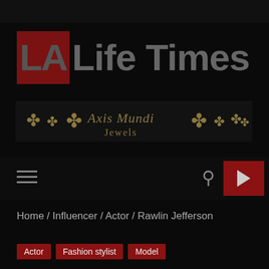[Figure (logo): LA Life Times logo — red square with 'LA' text, followed by 'Life Times' in bold gray letters]
[Figure (logo): Axis Mundi Jewels advertisement banner with decorative cross/snowflake symbols in gold on dark background]
Home / Influencer / Actor / Rawlin Jefferson
Actor
Fashion stylist
Model